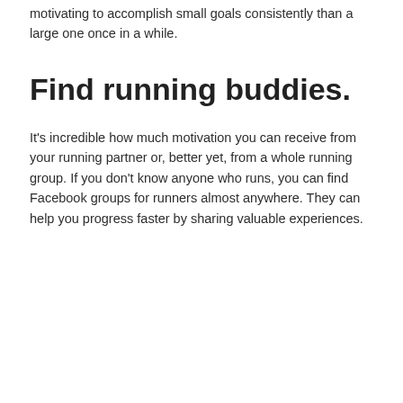motivating to accomplish small goals consistently than a large one once in a while.
Find running buddies.
It's incredible how much motivation you can receive from your running partner or, better yet, from a whole running group. If you don't know anyone who runs, you can find Facebook groups for runners almost anywhere. They can help you progress faster by sharing valuable experiences.